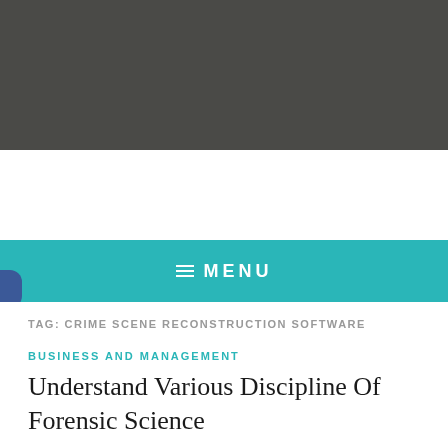MENU
TAG: CRIME SCENE RECONSTRUCTION SOFTWARE
BUSINESS AND MANAGEMENT
Understand Various Discipline Of Forensic Science
March 18, 2021  Vickie Ryan